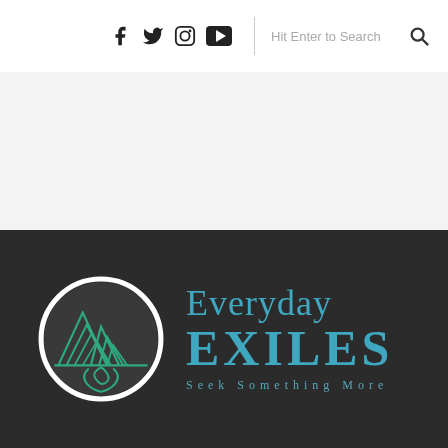Social icons: Facebook, Twitter, Instagram, YouTube | Hit Enter to Search
[Figure (logo): Everyday Exiles logo with circular mountain and river emblem in green/white on dark background, text 'Everyday EXILES - Seek Something More' in teal]